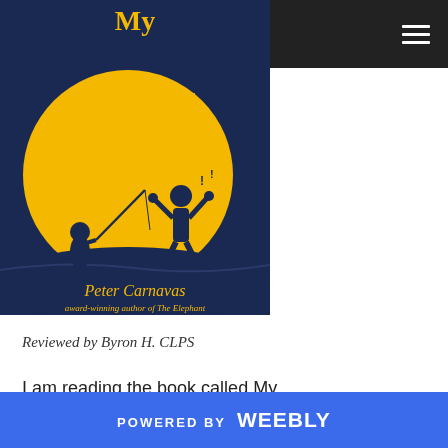[Figure (illustration): Book cover of 'My Brother Ben' by Peter Carnavas. Dark navy background with a large yellow circle (moon). Silhouettes of two children — one fishing, one jumping. Yellow text reads 'My Brother Ben'. Gold text 'Peter Carnavas' and subtitle 'award-winning author of The Elephant'.]
Reviewed by Byron H. CLPS
I am reading the book called My Brother Ben. It is written by Peter
POWERED BY weebly